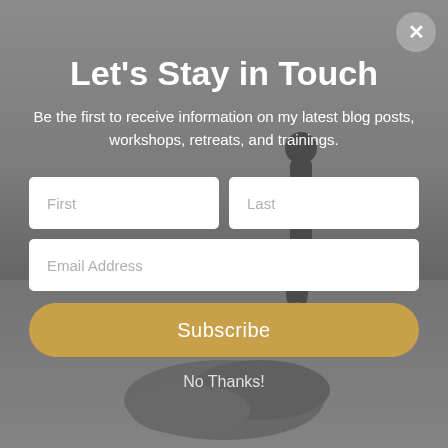[Figure (photo): Grayscale background photo of a person standing on rocky shore by the ocean]
Let's Stay in Touch
Be the first to receive information on my latest blog posts, workshops, retreats, and trainings.
First | Last | Email Address | Subscribe | No Thanks!